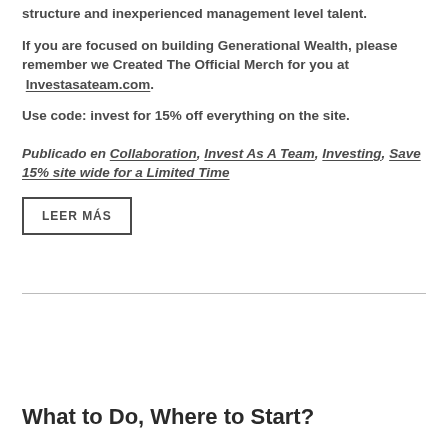structure and inexperienced management level talent.
If you are focused on building Generational Wealth, please remember we Created The Official Merch for you at Investasateam.com.
Use code: invest for 15% off everything on the site.
Publicado en Collaboration, Invest As A Team, Investing, Save 15% site wide for a Limited Time
LEER MÁS
What to Do, Where to Start?